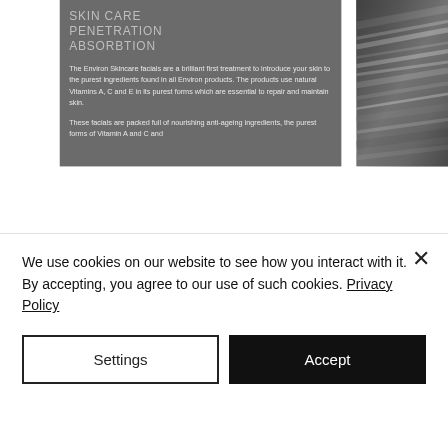SKIN CARE
PENETRATION
ABSORBTION
The Environ Skincare facials are a brilliant first treatment to introduce your skin to the purest ingredients found in all Environ products. The products use natural Vitamins A, C and E in its purest forms which are essential to repair and maintain skin.
These facials are packed full of nourishing anti-ageing ingredients, the purest forms of Vitamin A and C and
[Figure (photo): Black and white abstract swirl/diagonal lines pattern on the right side of the page]
We use cookies on our website to see how you interact with it. By accepting, you agree to our use of such cookies. Privacy Policy
Settings
Accept